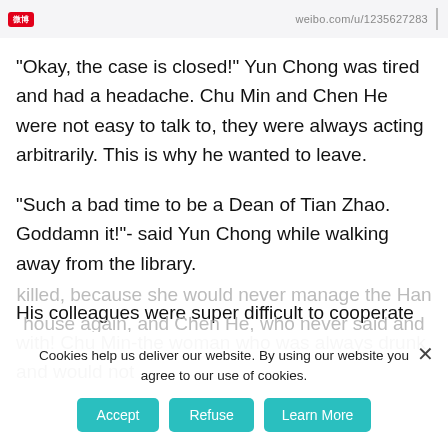weibo.com/u/1235627283
“Okay, the case is closed!” Yun Chong was tired and had a headache. Chu Min and Chen He were not easy to talk to, they were always acting arbitrarily. This is why he wanted to leave.
“Such a bad time to be a Dean of Tian Zhao. Goddamn it!”- said Yun Chong while walking away from the library.
His colleagues were super difficult to cooperate with! Chu Min-the woman who was always drunk and would not
Cookies help us deliver our website. By using our website you agree to our use of cookies.
Accept | Refuse | Learn More